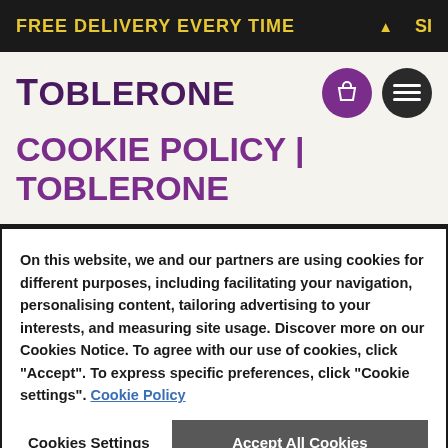FREE DELIVERY EVERY TIME   ▲   SI
TOBLERONE
COOKIE POLICY | TOBLERONE
On this website, we and our partners are using cookies for different purposes, including facilitating your navigation, personalising content, tailoring advertising to your interests, and measuring site usage. Discover more on our Cookies Notice. To agree with our use of cookies, click "Accept". To express specific preferences, click "Cookie settings". Cookie Policy
Cookies Settings   Accept All Cookies